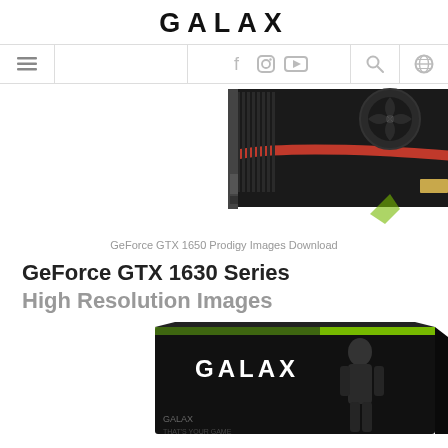GALAX
[Figure (screenshot): Navigation bar with hamburger menu, social icons (Facebook, Instagram, YouTube), search icon, and globe icon]
[Figure (photo): GALAX GeForce GTX 1650 graphics card product photo showing black GPU with red accent stripe and cooling fans]
GeForce GTX 1650 Prodigy Images Download
GeForce GTX 1630 Series High Resolution Images
[Figure (photo): GALAX product box for GeForce GTX 1630 series, dark box with GALAX branding and figure silhouette]